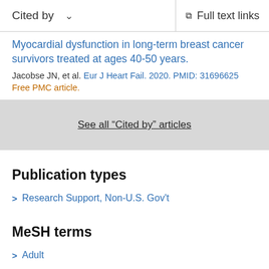Cited by   ∨   Full text links
Myocardial dysfunction in long-term breast cancer survivors treated at ages 40-50 years.
Jacobse JN, et al. Eur J Heart Fail. 2020. PMID: 31696625
Free PMC article.
See all "Cited by" articles
Publication types
Research Support, Non-U.S. Gov't
MeSH terms
Adult